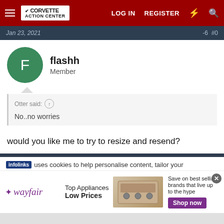Corvette Action Center — LOG IN   REGISTER
Jan 23, 2021
flashh
Member
Otter said:
No..no worries
would you like me to try to resize and resend?
infolinks uses cookies to help personalise content, tailor your
[Figure (infographic): Wayfair advertisement: Top Appliances Low Prices with image of stove and Shop now button]